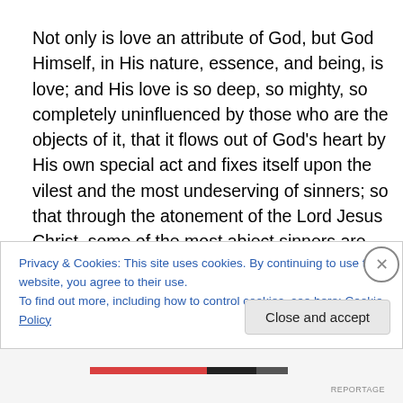Not only is love an attribute of God, but God Himself, in His nature, essence, and being, is love; and His love is so deep, so mighty, so completely uninfluenced by those who are the objects of it, that it flows out of God's heart by His own special act and fixes itself upon the vilest and the most undeserving of sinners; so that through the atonement of the Lord Jesus Christ, some of the most abject sinners are justified and saved. God commends His
Privacy & Cookies: This site uses cookies. By continuing to use this website, you agree to their use.
To find out more, including how to control cookies, see here: Cookie Policy
Close and accept